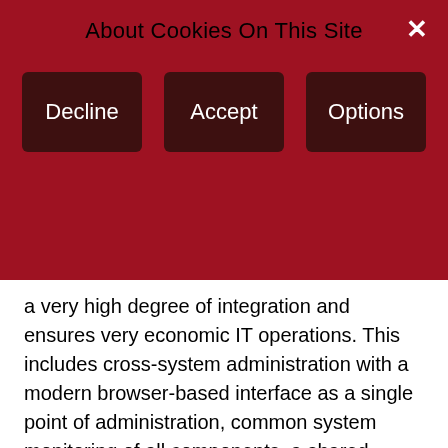About Cookies On This Site
[Figure (screenshot): Cookie consent banner with dark red background showing three buttons: Decline, Accept, Options, and a close (×) button in the top right corner.]
a very high degree of integration and ensures very economic IT operations. This includes cross-system administration with a modern browser-based interface as a single point of administration, common system monitoring of all components, a shared service procedure and all the options of consolidation by virtualization.
A further development stage is the support of management clusters for central operation and administration and of live migration clusters for the uninterrupted relocation of a running BS2000 guest system from one server to another.